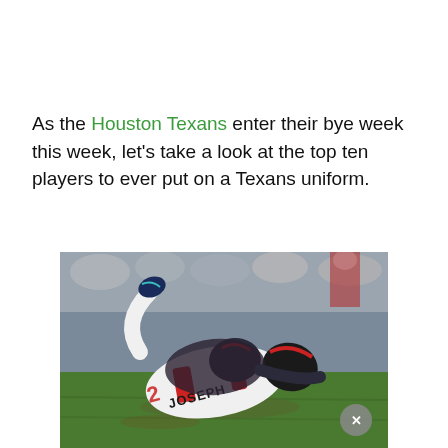As the Houston Texans enter their bye week this week, let's take a look at the top ten players to ever put on a Texans uniform.
[Figure (photo): A football player wearing a white Houston Texans jersey with 'JOSEPH' on the back is tackled and lying on the field during a game. Another player in a dark helmet is on top of him. The image is taken on a green football field with blurred crowd in background.]